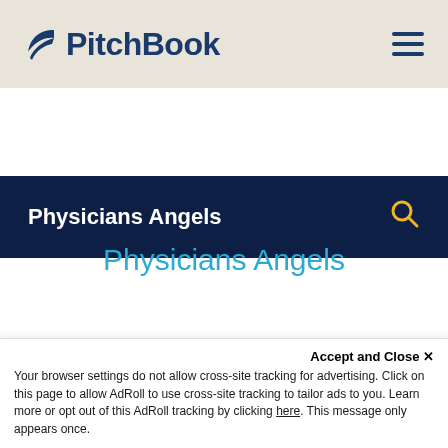[Figure (logo): PitchBook logo with leaf icon and hamburger menu on beige/tan header bar]
Physicians Angels
Physicians Angels
Accept and Close ×
Your browser settings do not allow cross-site tracking for advertising. Click on this page to allow AdRoll to use cross-site tracking to tailor ads to you. Learn more or opt out of this AdRoll tracking by clicking here. This message only appears once.